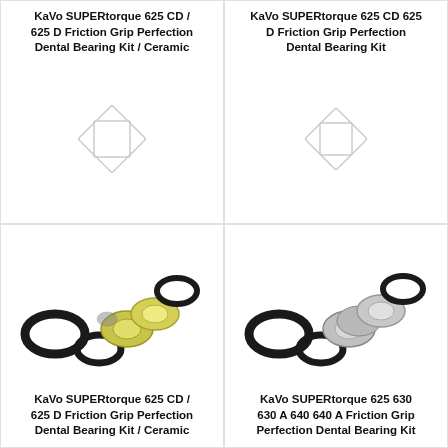KaVo SUPERtorque 625 CD / 625 D Friction Grip Perfection Dental Bearing Kit / Ceramic
[Figure (illustration): Placeholder image icon (rotated square/diamond outline) for KaVo SUPERtorque 625 CD / 625 D Friction Grip Perfection Dental Bearing Kit / Ceramic]
KaVo SUPERtorque 625 CD 625 D Friction Grip Perfection Dental Bearing Kit
[Figure (illustration): Placeholder image icon (rotated square/diamond outline) for KaVo SUPERtorque 625 CD 625 D Friction Grip Perfection Dental Bearing Kit]
[Figure (illustration): Yellow/green ceramic dental bearing kit components including O-rings and bearings, exploded view]
KaVo SUPERtorque 625 CD / 625 D Friction Grip Perfection Dental Bearing Kit / Ceramic
[Figure (illustration): Silver/grey dental bearing kit components including O-rings and bearings, exploded view]
KaVo SUPERtorque 625 630 630 A 640 640 A Friction Grip Perfection Dental Bearing Kit